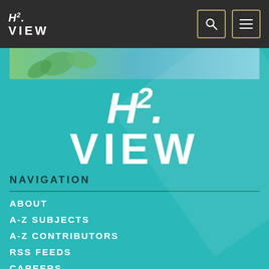H2 VIEW
[Figure (photo): Banner image with green leaves and teal background]
[Figure (logo): H2 VIEW large white logo on teal background]
NAVIGATION
ABOUT
A-Z SUBJECTS
A-Z CONTRIBUTORS
RSS FEEDS
CAREERS
CONTACT
TERMS
PRIVACY POLICY